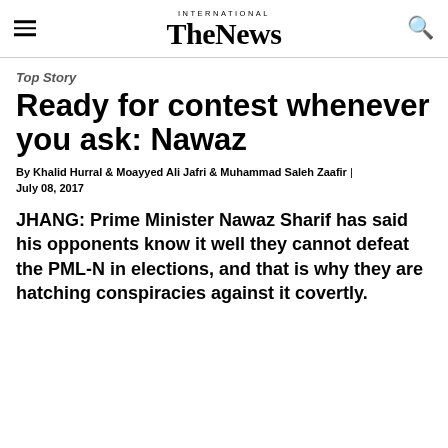INTERNATIONAL THE NEWS
Top Story
Ready for contest whenever you ask: Nawaz
By Khalid Hurral & Moayyed Ali Jafri & Muhammad Saleh Zaafir | July 08, 2017
JHANG: Prime Minister Nawaz Sharif has said his opponents know it well they cannot defeat the PML-N in elections, and that is why they are hatching conspiracies against it covertly.